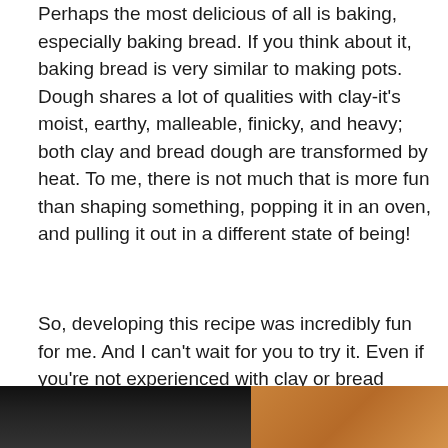Perhaps the most delicious of all is baking, especially baking bread. If you think about it, baking bread is very similar to making pots. Dough shares a lot of qualities with clay-it's moist, earthy, malleable, finicky, and heavy; both clay and bread dough are transformed by heat. To me, there is not much that is more fun than shaping something, popping it in an oven, and pulling it out in a different state of being!
So, developing this recipe was incredibly fun for me. And I can't wait for you to try it. Even if you're not experienced with clay or bread dough, it's not that difficult.
This is a savory pull-apart bread. It is chewy and crusty and fun to eat. If you use plenty of salt, it tastes a bit like a pretzel. I sort of want to make one every day.
[Figure (photo): Two photos side by side at the bottom of the page: left photo shows a dark background image (likely bread or baking), right photo shows a warm brown/orange colored image (likely baked bread).]